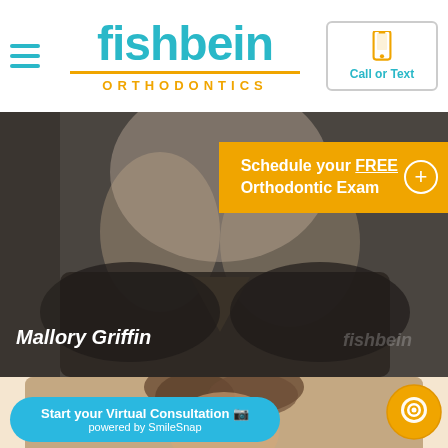[Figure (logo): Fishbein Orthodontics logo with teal fishbein text and orange ORTHODONTICS text below]
[Figure (photo): Photo of Mallory Griffin in dark scrubs with Fishbein logo, Schedule your FREE Orthodontic Exam banner overlay]
[Figure (photo): Partial photo of second staff member, Start your Virtual Consultation powered by SmileSnap button overlay, circular chat icon bottom right]